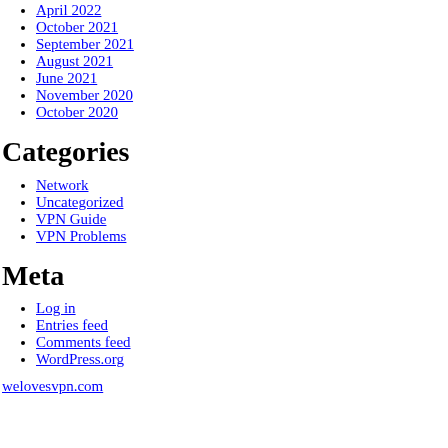April 2022
October 2021
September 2021
August 2021
June 2021
November 2020
October 2020
Categories
Network
Uncategorized
VPN Guide
VPN Problems
Meta
Log in
Entries feed
Comments feed
WordPress.org
welovesvpn.com